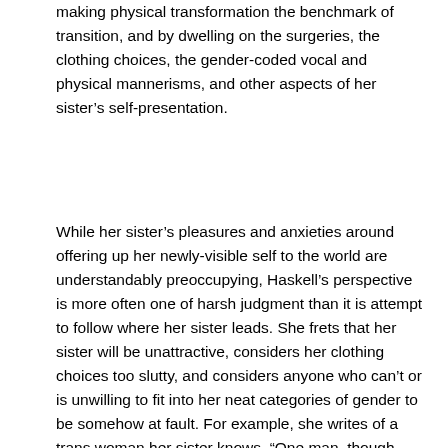making physical transformation the benchmark of transition, and by dwelling on the surgeries, the clothing choices, the gender-coded vocal and physical mannerisms, and other aspects of her sister's self-presentation.
While her sister's pleasures and anxieties around offering up her newly-visible self to the world are understandably preoccupying, Haskell's perspective is more often one of harsh judgment than it is attempt to follow where her sister leads. She frets that her sister will be unattractive, considers her clothing choices too slutty, and considers anyone who can't or is unwilling to fit into her neat categories of gender to be somehow at fault. For example, she writes of a trans woman her sister knows, “One man, though convinced he’s a she, refuses to do anything to alter his rough male appearance” (158). As if this “refusal” to care about her appearance somehow invalidates